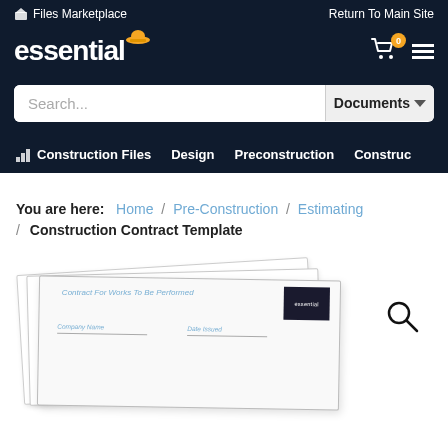Files Marketplace   Return To Main Site
[Figure (logo): Essential construction files marketplace logo with hard hat icon]
Search... Documents
Construction Files  Design  Preconstruction  Construc
You are here:  Home / Pre-Construction / Estimating / Construction Contract Template
[Figure (screenshot): Document preview showing a construction contract template with Essential logo, titled Contract For Works To Be Performed, with fields for Company Name and Date Issued]